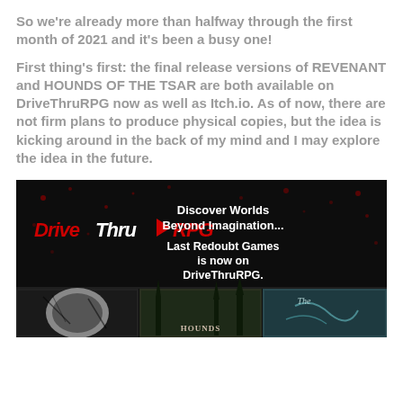So we're already more than halfway through the first month of 2021 and it's been a busy one!
First thing's first: the final release versions of REVENANT and HOUNDS OF THE TSAR are both available on DriveThruRPG now as well as Itch.io. As of now, there are not firm plans to produce physical copies, but the idea is kicking around in the back of my mind and I may explore the idea in the future.
[Figure (screenshot): DriveThruRPG banner advertisement showing the DriveThruRPG logo, the text 'Discover Worlds Beyond Imagination... Last Redoubt Games is now on DriveThruRPG.' and three game book covers below including HOUNDS and other titles, on a dark background with red splatter effects.]